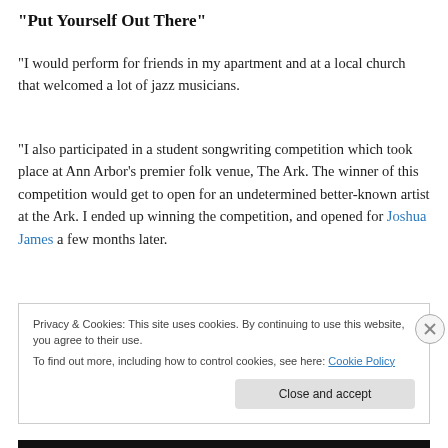“Put Yourself Out There”
“I would perform for friends in my apartment and at a local church that welcomed a lot of jazz musicians.
“I also participated in a student songwriting competition which took place at Ann Arbor’s premier folk venue, The Ark. The winner of this competition would get to open for an undetermined better-known artist at the Ark. I ended up winning the competition, and opened for Joshua James a few months later.
Privacy & Cookies: This site uses cookies. By continuing to use this website, you agree to their use.
To find out more, including how to control cookies, see here: Cookie Policy